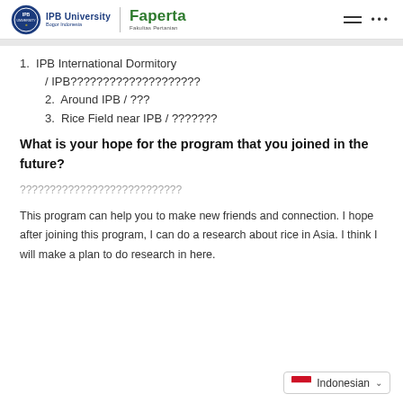IPB University | Faperta – Fakultas Pertanian
1. IPB International Dormitory / IPB????????????????????
2. Around IPB / ???
3. Rice Field near IPB / ???????
What is your hope for the program that you joined in the future?
???????????????????????????
This program can help you to make new friends and connection. I hope after joining this program, I can do a research about rice in Asia. I think I will make a plan to do research in here.